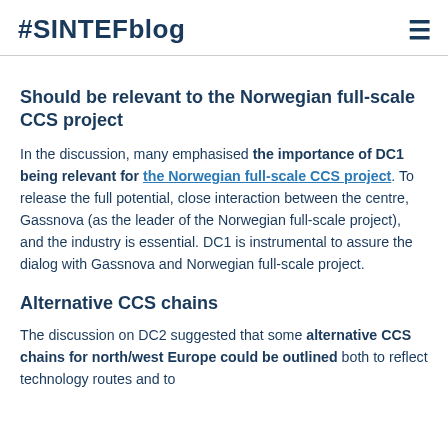#SINTEFblog
Should be relevant to the Norwegian full-scale CCS project
In the discussion, many emphasised the importance of DC1 being relevant for the Norwegian full- scale CCS project. To release the full potential, close interaction between the centre, Gassnova (as the leader of the Norwegian full-scale project), and the industry is essential. DC1 is instrumental to assure the dialog with Gassnova and Norwegian full-scale project.
Alternative CCS chains
The discussion on DC2 suggested that some alternative CCS chains for north/west Europe could be outlined both to reflect technology routes and to